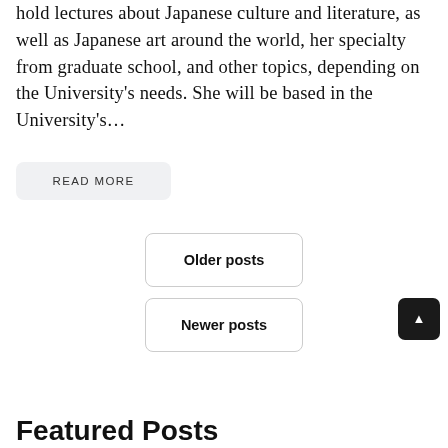hold lectures about Japanese culture and literature, as well as Japanese art around the world, her specialty from graduate school, and other topics, depending on the University's needs. She will be based in the University's…
READ MORE
Older posts
Newer posts
Featured Posts